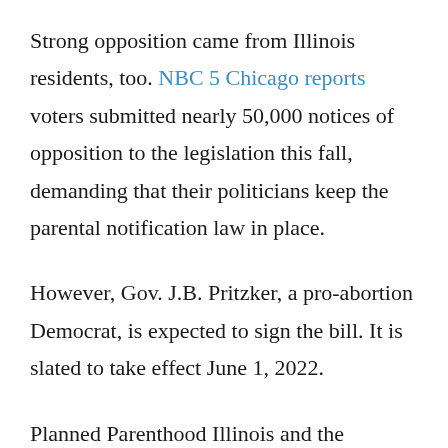Strong opposition came from Illinois residents, too. NBC 5 Chicago reports voters submitted nearly 50,000 notices of opposition to the legislation this fall, demanding that their politicians keep the parental notification law in place.
However, Gov. J.B. Pritzker, a pro-abortion Democrat, is expected to sign the bill. It is slated to take effect June 1, 2022.
Planned Parenthood Illinois and the American Civil Liberties Union celebrated after the vote, claiming the repeal is about trusting young people to “choose” what is best for themselves.
“We are proud of our elected champions State